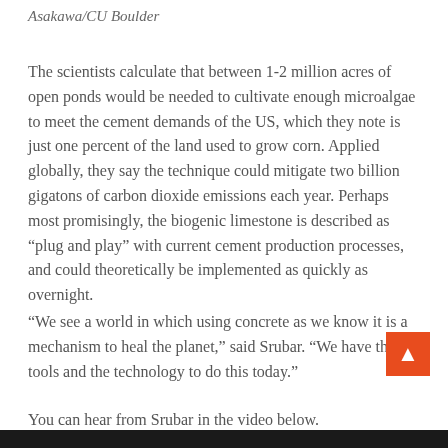Asakawa/CU Boulder
The scientists calculate that between 1-2 million acres of open ponds would be needed to cultivate enough microalgae to meet the cement demands of the US, which they note is just one percent of the land used to grow corn. Applied globally, they say the technique could mitigate two billion gigatons of carbon dioxide emissions each year. Perhaps most promisingly, the biogenic limestone is described as “plug and play” with current cement production processes, and could theoretically be implemented as quickly as overnight.
“We see a world in which using concrete as we know it is a mechanism to heal the planet,” said Srubar. “We have the tools and the technology to do this today.”
You can hear from Srubar in the video below.